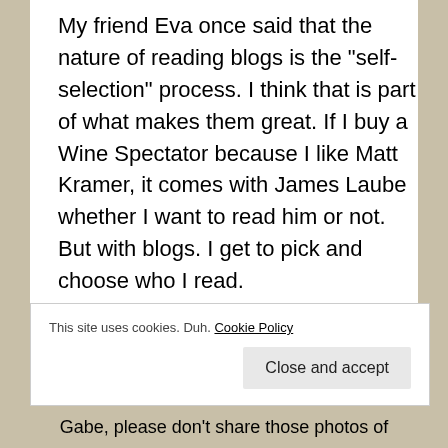My friend Eva once said that the nature of reading blogs is the "self-selection" process. I think that is part of what makes them great. If I buy a Wine Spectator because I like Matt Kramer, it comes with James Laube whether I want to read him or not. But with blogs. I get to pick and choose who I read.

As for how I find my particular blogs of choice....well, that is a long and boring story. i will just say that it is a constantly evolving list,.
This site uses cookies. Duh. Cookie Policy
Close and accept
Gabe, please don't share those photos of